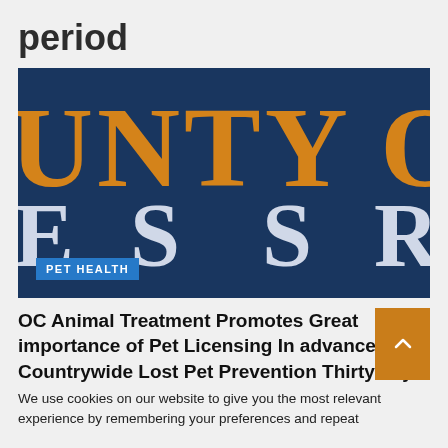period
[Figure (photo): Close-up photo of a sign reading 'COUNTY OF' in large orange letters on a dark blue background, with partial white letters 'E S S R' visible below, suggesting 'ASSESSOR'. A blue 'PET HEALTH' badge overlays the bottom-left of the image.]
OC Animal Treatment Promotes Great importance of Pet Licensing In advance of Countrywide Lost Pet Prevention Thirty day
We use cookies on our website to give you the most relevant experience by remembering your preferences and repeat